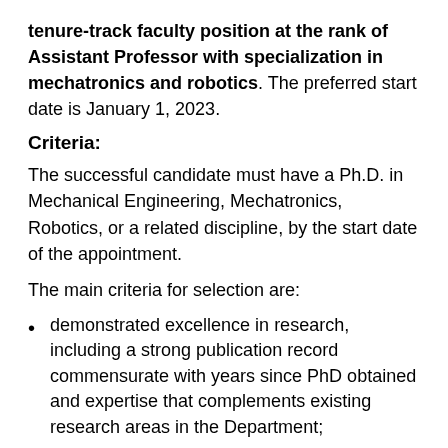tenure-track faculty position at the rank of Assistant Professor with specialization in mechatronics and robotics. The preferred start date is January 1, 2023.
Criteria:
The successful candidate must have a Ph.D. in Mechanical Engineering, Mechatronics, Robotics, or a related discipline, by the start date of the appointment.
The main criteria for selection are:
demonstrated excellence in research, including a strong publication record commensurate with years since PhD obtained and expertise that complements existing research areas in the Department;
evidence of high-quality scholarly output that demonstrates potential for independent research